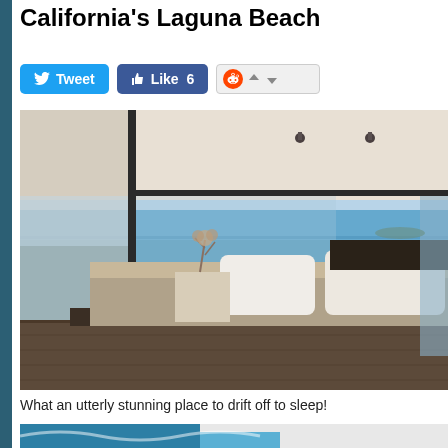California's Laguna Beach
[Figure (screenshot): Social media share buttons: Tweet button (Twitter), Like 6 button (Facebook), Reddit voting buttons]
[Figure (photo): Modern bedroom with floor-to-ceiling glass windows overlooking the ocean at Laguna Beach, California. Low platform bed with white pillows and beige bedding, dark wood floors, minimalist nightstand with decorative branch arrangement.]
What an utterly stunning place to drift off to sleep!
[Figure (photo): Bottom strip showing partial image with blue and white tones, beginning of another photo]